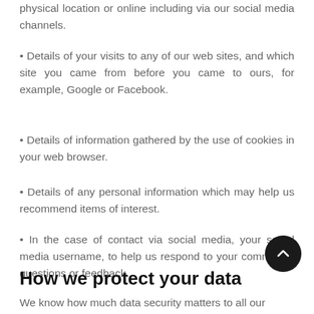physical location or online including via our social media channels.
Details of your visits to any of our web sites, and which site you came from before you came to ours, for example, Google or Facebook.
Details of information gathered by the use of cookies in your web browser.
Details of any personal information which may help us recommend items of interest.
In the case of contact via social media, your social media username, to help us respond to your comments, questions or feedback.
How we protect your data
We know how much data security matters to all our